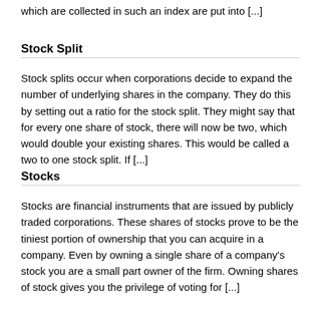which are collected in such an index are put into [...]
Stock Split
Stock splits occur when corporations decide to expand the number of underlying shares in the company. They do this by setting out a ratio for the stock split. They might say that for every one share of stock, there will now be two, which would double your existing shares. This would be called a two to one stock split. If [...]
Stocks
Stocks are financial instruments that are issued by publicly traded corporations. These shares of stocks prove to be the tiniest portion of ownership that you can acquire in a company. Even by owning a single share of a company's stock you are a small part owner of the firm. Owning shares of stock gives you the privilege of voting for [...]